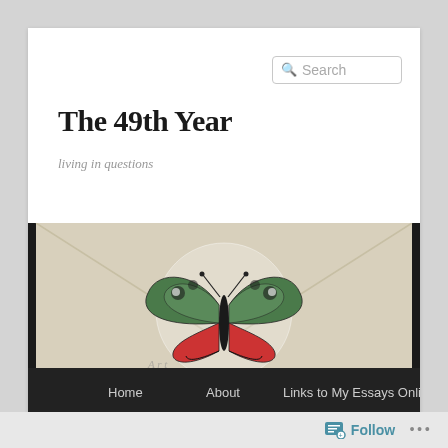Search
The 49th Year
living in questions
[Figure (photo): A decorative butterfly specimen on a cream/beige envelope background, with a dark navigation bar below showing Home, About, Links to My Essays Online]
← Previous   Next →
Follow  ...